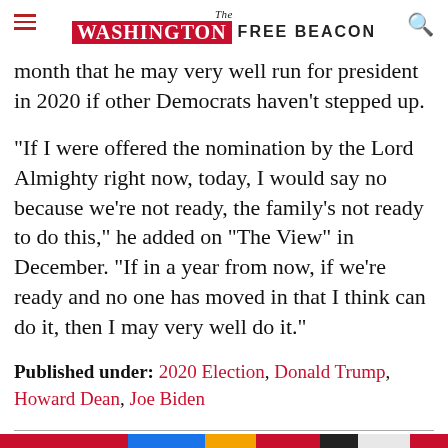The Washington Free Beacon
month that he may very well run for president in 2020 if other Democrats haven't stepped up.
"If I were offered the nomination by the Lord Almighty right now, today, I would say no because we're not ready, the family's not ready to do this," he added on "The View" in December. "If in a year from now, if we're ready and no one has moved in that I think can do it, then I may very well do it."
Published under: 2020 Election, Donald Trump, Howard Dean, Joe Biden
Related Articles